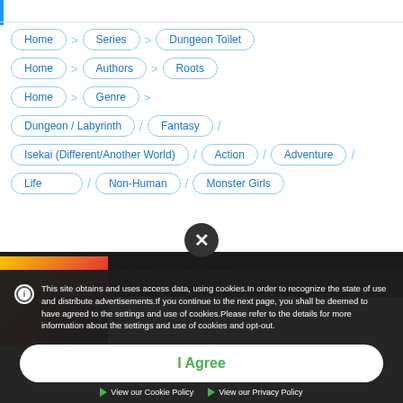Home > Series > Dungeon Toilet
Home > Authors > Roots
Home > Genre >
Dungeon / Labyrinth / Fantasy /
Isekai (Different/Another World) / Action / Adventure /
... Life / Non-Human / Monster Girls
This site obtains and uses access data, using cookies.In order to recognize the state of use and distribute advertisements.If you continue to the next page, you shall be deemed to have agreed to the settings and use of cookies.Please refer to the details for more information about the settings and use of cookies and opt-out.
I Agree
View our Cookie Policy
View our Privacy Policy